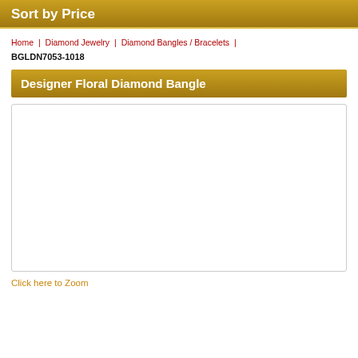Sort by Price
Home | Diamond Jewelry | Diamond Bangles / Bracelets | BGLDN7053-1018
Designer Floral Diamond Bangle
[Figure (photo): Product image area for Designer Floral Diamond Bangle (blank/white placeholder)]
Click here to Zoom